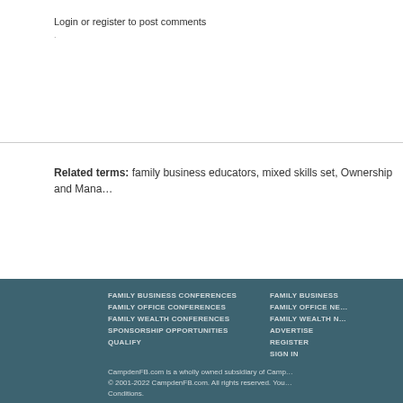Login or register to post comments
Related terms: family business educators, mixed skills set, Ownership and Mana...
FAMILY BUSINESS CONFERENCES
FAMILY OFFICE CONFERENCES
FAMILY WEALTH CONFERENCES
SPONSORSHIP OPPORTUNITIES
QUALIFY
FAMILY BUSINESS
FAMILY OFFICE N...
FAMILY WEALTH N...
ADVERTISE
REGISTER
SIGN IN
CampdenFB.com is a wholly owned subsidiary of Camp...
© 2001-2022 CampdenFB.com. All rights reserved. You...
Conditions.